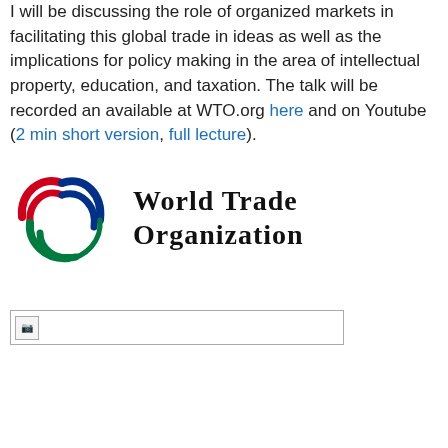I will be discussing the role of organized markets in facilitating this global trade in ideas as well as the implications for policy making in the area of intellectual property, education, and taxation. The talk will be recorded an available at WTO.org here and on Youtube (2 min short version, full lecture).
[Figure (logo): World Trade Organization logo with colored swoosh arcs (red, blue, green) and the text 'World Trade Organization' in serif font]
[Figure (photo): Broken image placeholder box]